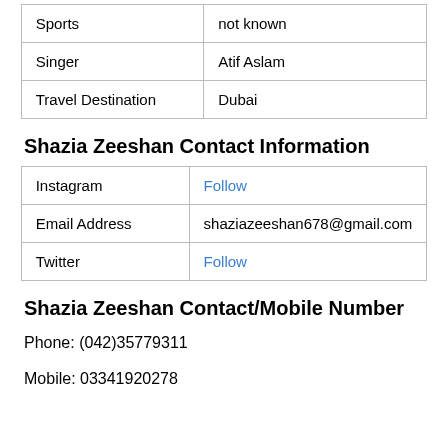| Sports | not known |
| Singer | Atif Aslam |
| Travel Destination | Dubai |
Shazia Zeeshan Contact Information
| Instagram | Follow |
| Email Address | shaziazeeshan678@gmail.com |
| Twitter | Follow |
Shazia Zeeshan Contact/Mobile Number
Phone: (042)35779311
Mobile: 03341920278